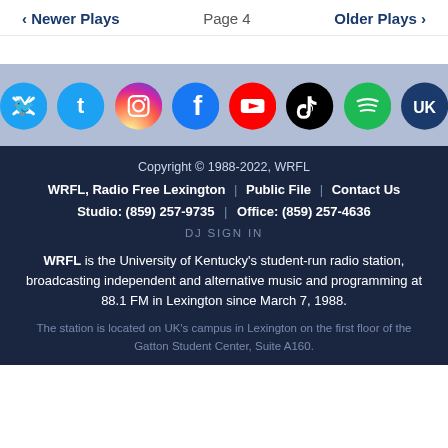< Newer Plays   Page 4   Older Plays >
[Figure (illustration): Row of 7 social media icons: Twitter (blue), Instagram (gradient), Facebook (blue), YouTube (red), TikTok (black), Spotify (green), UK (dark blue)]
Copyright © 1988-2022, WRFL
WRFL, Radio Free Lexington | Public File | Contact Us
Studio: (859) 257-9735 | Office: (859) 257-4636
DJ SIGN IN
WRFL is the University of Kentucky's student-run radio station, broadcasting independent and alternative music and programming at 88.1 FM in Lexington since March 7, 1988.
The station is located on UK's campus in Lexington on the first floor of the Gatton Student Center, Suite A160.